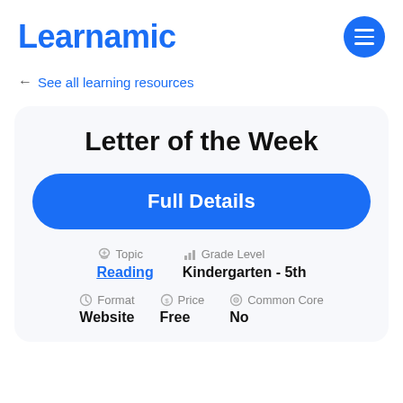Learnamic
← See all learning resources
Letter of the Week
Full Details
Topic: Reading | Grade Level: Kindergarten - 5th
Format: Website | Price: Free | Common Core: No